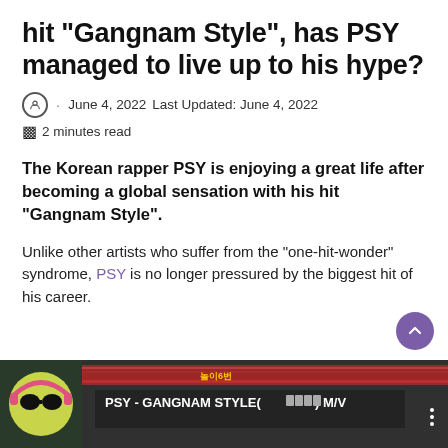hit "Gangnam Style", has PSY managed to live up to his hype?
June 4, 2022   Last Updated: June 4, 2022
2 minutes read
The Korean rapper PSY is enjoying a great life after becoming a global sensation with his hit “Gangnam Style”.
Unlike other artists who suffer from the “one-hit-wonder” syndrome, PSY is no longer pressured by the biggest hit of his career.
[Figure (screenshot): YouTube video thumbnail showing PSY - GANGNAM STYLE(강낙스타일) M/V with animated character wearing sunglasses]